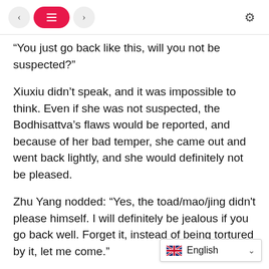< [menu] > [settings]
“You just go back like this, will you not be suspected?”
Xiuxiu didn’t speak, and it was impossible to think. Even if she was not suspected, the Bodhisattva’s flaws would be reported, and because of her bad temper, she came out and went back lightly, and she would definitely not be pleased.
Zhu Yang nodded: “Yes, the toad/mao/jing didn't please himself. I will definitely be jealous if you go back well. Forget it, instead of being tortured by it, let me come.”
and many more! What are you doing here?
Xiuxiu hadn’t reacted, she just hit her face with a punch on her head, and then